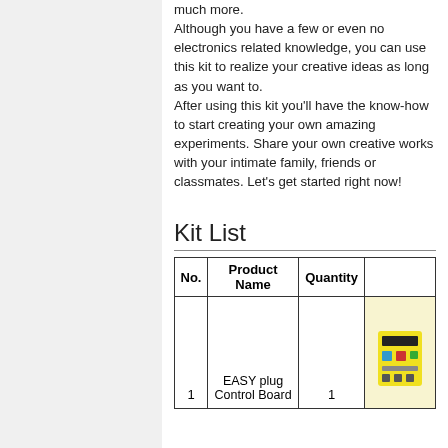much more.
Although you have a few or even no electronics related knowledge, you can use this kit to realize your creative ideas as long as you want to.
After using this kit you'll have the know-how to start creating your own amazing experiments. Share your own creative works with your intimate family, friends or classmates. Let's get started right now!
Kit List
| No. | Product Name | Quantity |  |
| --- | --- | --- | --- |
| 1 | EASY plug Control Board | 1 |  |